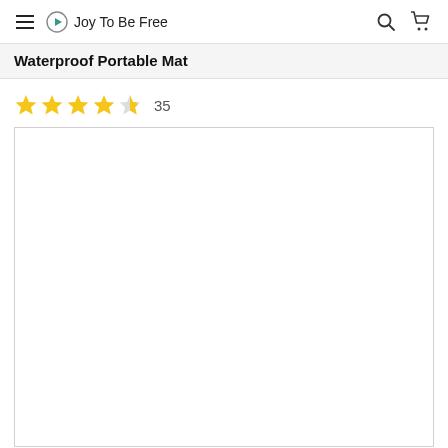Joy To Be Free
Waterproof Portable Mat
★★★★½ 35
[Figure (photo): Large white/empty product image area for Waterproof Portable Mat]